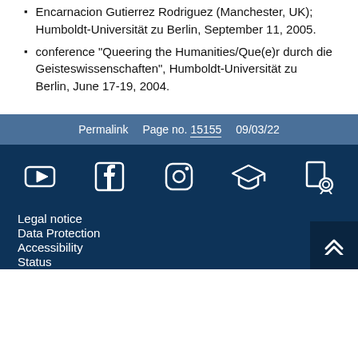Encarnacion Gutierrez Rodriguez (Manchester, UK); Humboldt-Universität zu Berlin, September 11, 2005.
conference "Queering the Humanities/Que(e)r durch die Geisteswissenschaften", Humboldt-Universität zu Berlin, June 17-19, 2004.
Permalink   Page no. 15155   09/03/22
[Figure (other): Social media icons: YouTube, Facebook, Instagram, graduation cap/education, certificate/document]
Legal notice
Data Protection
Accessibility
Status